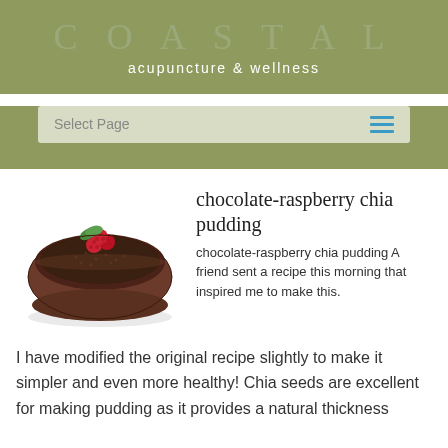COASTAL
acupuncture & wellness
Select Page
[Figure (photo): A bowl of chocolate-raspberry chia pudding topped with fresh raspberries and mint leaves]
chocolate-raspberry chia pudding
chocolate-raspberry chia pudding A friend sent a recipe this morning that inspired me to make this. I have modified the original recipe slightly to make it simpler and even more healthy! Chia seeds are excellent for making pudding as it provides a natural thickness